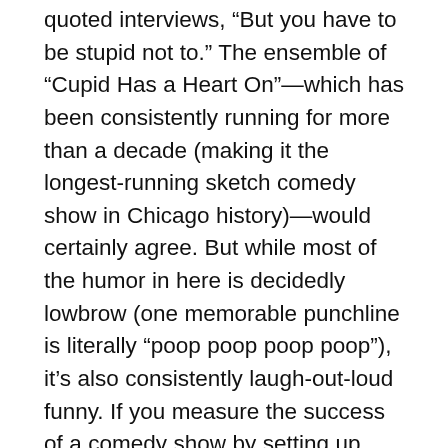quoted interviews, “But you have to be stupid not to.” The ensemble of “Cupid Has a Heart On”—which has been consistently running for more than a decade (making it the longest-running sketch comedy show in Chicago history)—would certainly agree. But while most of the humor in here is decidedly lowbrow (one memorable punchline is literally “poop poop poop poop”), it’s also consistently laugh-out-loud funny. If you measure the success of a comedy show by setting up some kind of hits-to-misses ratio, rest assured that “Cupid’s” arrows solidly hit their marks much more often than not.